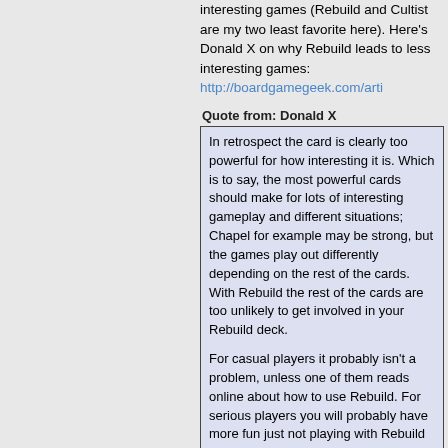interesting games (Rebuild and Cultist are my two least favorite here). Here's Donald X on why Rebuild leads to less interesting games: http://boardgamegeek.com/arti
Quote from: Donald X
In retrospect the card is clearly too powerful for how interesting it is. Which is to say, the most powerful cards should make for lots of interesting gameplay and different situations; Chapel for example may be strong, but the games play out differently depending on the rest of the cards. With Rebuild the rest of the cards are too unlikely to get involved in your Rebuild deck.

For casual players it probably isn't a problem, unless one of them reads online about how to use Rebuild. For serious players you will probably have more fun just not playing with Rebuild after you've had the experience. I would rather that not be the case, but well at least there are 34 other kingdom cards in Dark Ages.